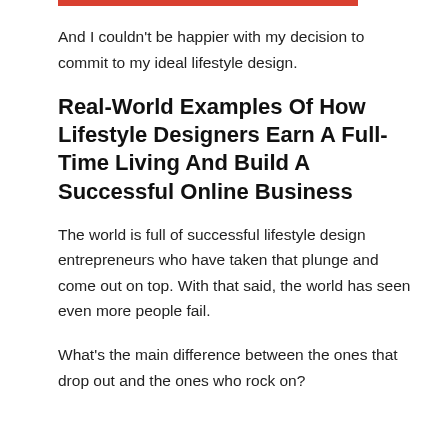And I couldn't be happier with my decision to commit to my ideal lifestyle design.
Real-World Examples Of How Lifestyle Designers Earn A Full-Time Living And Build A Successful Online Business
The world is full of successful lifestyle design entrepreneurs who have taken that plunge and come out on top. With that said, the world has seen even more people fail.
What's the main difference between the ones that drop out and the ones who rock on?